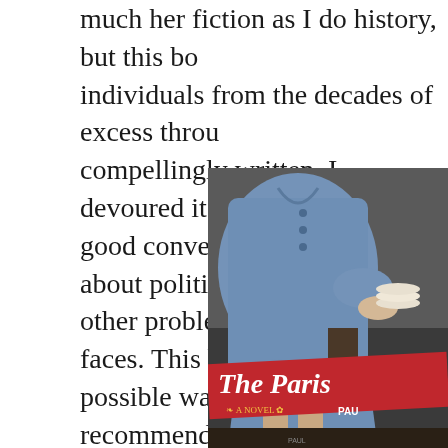much her fiction as I do history, but this book individuals from the decades of excess through compellingly written. I devoured it on our bal good conversations with Eric about politics an other problems our country faces. This book m possible way. Highly recommended.
[Figure (photo): Book cover partially visible showing 'The Paris' title text on a red banner, with a woman in a blue dress seated, partially cropped. The cover reads 'The Paris' (truncated) and 'PAU' (truncated author name), with 'A NOVEL' text.]